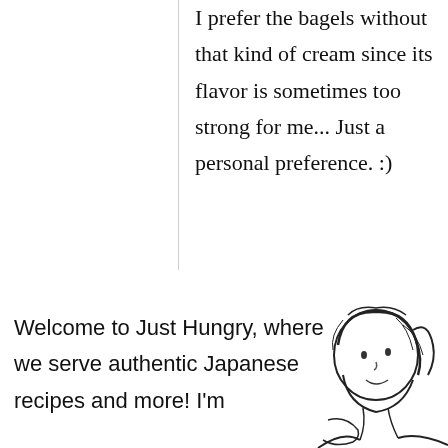I prefer the bagels without that kind of cream since its flavor is sometimes too strong for me... Just a personal preference. :)
Welcome to Just Hungry, where we serve authentic Japanese recipes and more! I'm
[Figure (illustration): Hand-drawn sketch of a person's face and upper body, looking upward thoughtfully]